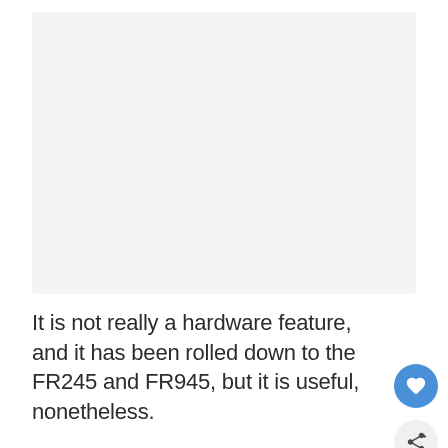[Figure (other): Large light gray rectangular placeholder image area]
It is not really a hardware feature, and it has been rolled down to the FR245 and FR945, but it is useful, nonetheless.